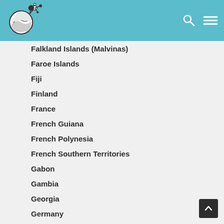[Figure (logo): Website logo with circle containing landscape/geology imagery and molecule/network nodes extending from it, on teal header background]
Falkland Islands (Malvinas)
Faroe Islands
Fiji
Finland
France
French Guiana
French Polynesia
French Southern Territories
Gabon
Gambia
Georgia
Germany
Ghana
Gibraltar
Greece